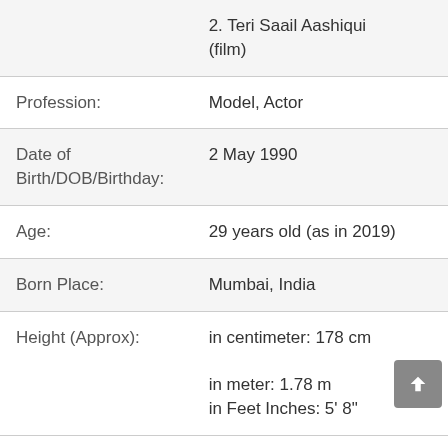| Field | Value |
| --- | --- |
|  | 2. Teri Saail Aashiqui (film) |
| Profession: | Model, Actor |
| Date of Birth/DOB/Birthday: | 2 May 1990 |
| Age: | 29 years old (as in 2019) |
| Born Place: | Mumbai, India |
| Height (Approx): | in centimeter: 178 cm
in meter: 1.78 m
in Feet Inches: 5' 8" |